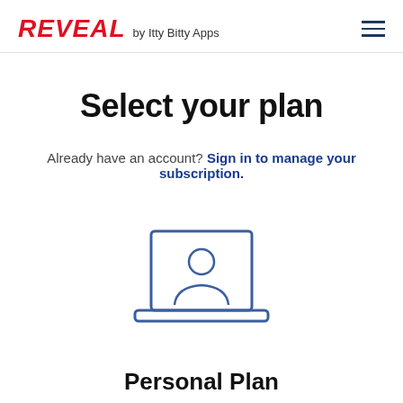REVEAL by Itty Bitty Apps
Select your plan
Already have an account? Sign in to manage your subscription.
[Figure (illustration): Laptop computer icon with a user/person silhouette on the screen, rendered in blue outline style]
Personal Plan